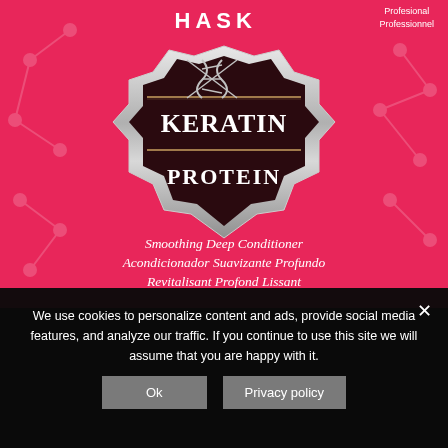[Figure (photo): HASK Keratin Protein Smoothing Deep Conditioner product packet on pink/red background with molecular pattern design. Features DNA double helix icon above an ornate dark badge with silver border containing 'KERATIN PROTEIN' text. Product descriptions in English, Spanish, and French below the badge.]
We use cookies to personalize content and ads, provide social media features, and analyze our traffic. If you continue to use this site we will assume that you are happy with it.
Ok
Privacy policy